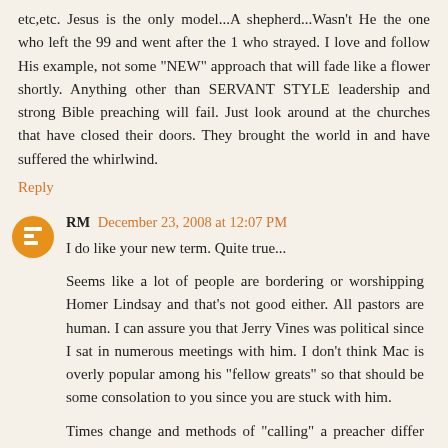etc,etc. Jesus is the only model...A shepherd...Wasn't He the one who left the 99 and went after the 1 who strayed. I love and follow His example, not some "NEW" approach that will fade like a flower shortly. Anything other than SERVANT STYLE leadership and strong Bible preaching will fail. Just look around at the churches that have closed their doors. They brought the world in and have suffered the whirlwind.
Reply
RM December 23, 2008 at 12:07 PM
I do like your new term. Quite true...
Seems like a lot of people are bordering or worshipping Homer Lindsay and that's not good either. All pastors are human. I can assure you that Jerry Vines was political since I sat in numerous meetings with him. I don't think Mac is overly popular among his "fellow greats" so that should be some consolation to you since you are stuck with him.
Times change and methods of "calling" a preacher differ with the